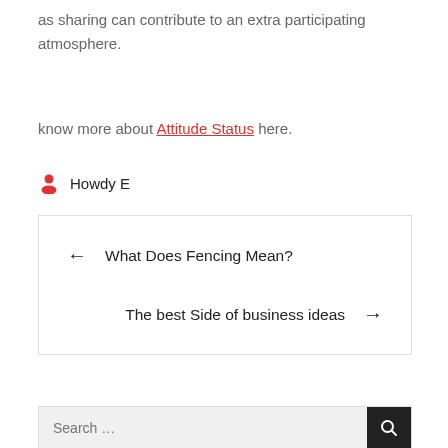as sharing can contribute to an extra participating atmosphere.
know more about Attitude Status here.
Howdy E
← What Does Fencing Mean?
The best Side of business ideas →
[Figure (screenshot): Search box with text input and dark search button]